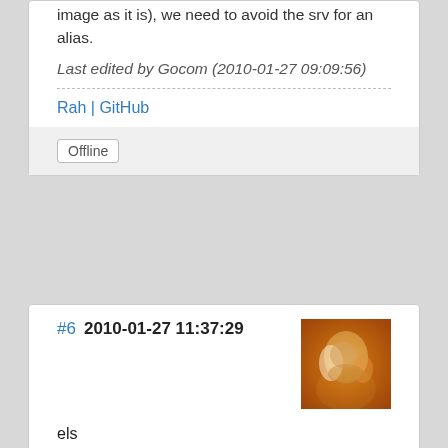image as it is), we need to avoid the srv for an alias.
Last edited by Gocom (2010-01-27 09:09:56)
Rah | GitHub
Offline
#6  2010-01-27 11:37:29
[Figure (photo): User avatar for els - orange/warm toned portrait photo]
els
Moderator
From: The Netherlands
Registered: 2004-06-06
Posts: 7,458
Wow. Speechless. This is great, Stef :) (I feel a